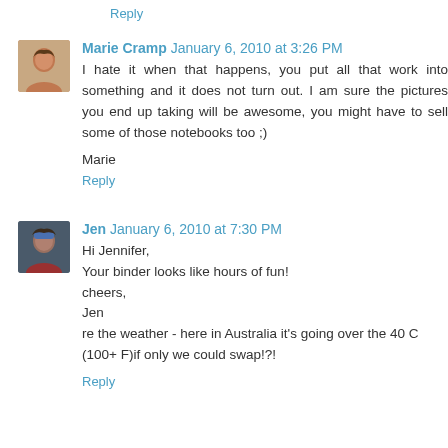Reply
Marie Cramp  January 6, 2010 at 3:26 PM
I hate it when that happens, you put all that work into something and it does not turn out. I am sure the pictures you end up taking will be awesome, you might have to sell some of those notebooks too ;)
Marie
Reply
Jen  January 6, 2010 at 7:30 PM
Hi Jennifer,
Your binder looks like hours of fun!
cheers,
Jen
re the weather - here in Australia it's going over the 40 C (100+ F)if only we could swap!?!
Reply